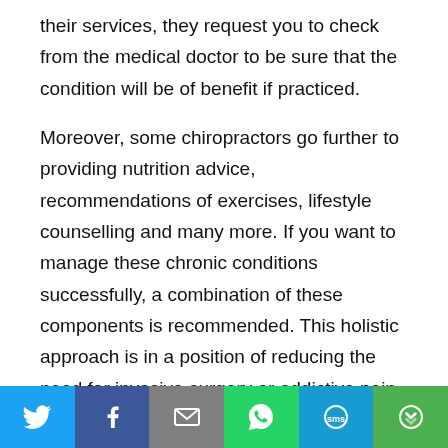their services, they request you to check from the medical doctor to be sure that the condition will be of benefit if practiced.
Moreover, some chiropractors go further to providing nutrition advice, recommendations of exercises, lifestyle counselling and many more. If you want to manage these chronic conditions successfully, a combination of these components is recommended. This holistic approach is in a position of reducing the need for invasive surgery or addictive pain medication.
If you’re such an individual with osteoporosis,
[Figure (infographic): Social media share bar with six buttons: Twitter (blue), Facebook (dark blue), Email (gray), WhatsApp (green), SMS (light blue), More (green)]